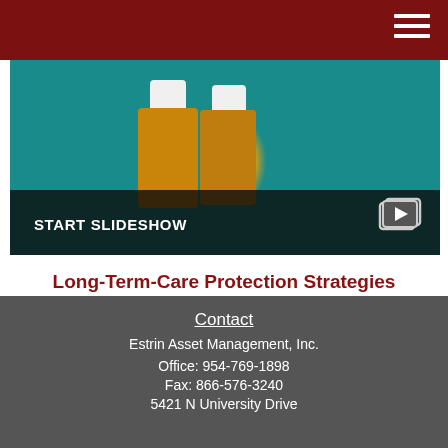[Figure (screenshot): Slideshow thumbnail showing medicine bottles on a teal surface with a dark overlay at the bottom displaying 'START SLIDESHOW' text and a slideshow icon]
Long-Term-Care Protection Strategies
The chances of needing long-term care, its cost, and strategies for covering that cost.
Contact
Estrin Asset Management, Inc.
Office: 954-769-1898
Fax: 866-576-3240
5421 N University Drive